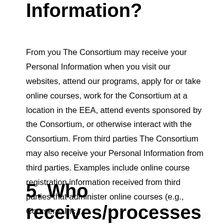Information?
From you The Consortium may receive your Personal Information when you visit our websites, attend our programs, apply for or take online courses, work for the Consortium at a location in the EEA, attend events sponsored by the Consortium, or otherwise interact with the Consortium. From third parties The Consortium may also receive your Personal Information from third parties. Examples include online course registration information received from third parties that administer online courses (e.g., Coursera, Inc.).
5. Who receives/processes